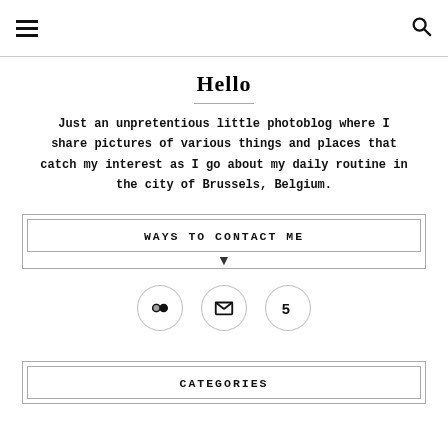Navigation header with hamburger menu and search icon
Hello
Just an unpretentious little photoblog where I share pictures of various things and places that catch my interest as I go about my daily routine in the city of Brussels, Belgium.
WAYS TO CONTACT ME
[Figure (infographic): Three circular icon buttons: Flickr icon, envelope/email icon, and number 5 icon (500px)]
CATEGORIES